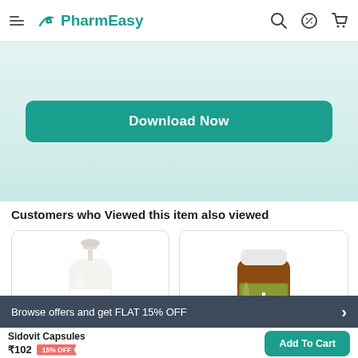PharmEasy
[Figure (screenshot): Download Now button on light teal background]
Customers who Viewed this item also viewed
[Figure (photo): Dove moisturising body lotion pump bottle]
[Figure (photo): LiveEasy supplement bottle in amber with olive label]
Browse offers and get FLAT 15% OFF
Sidovit Capsules ₹102 15% OFF
Add To Cart